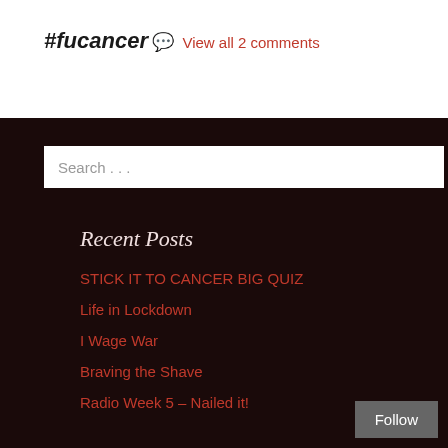#fucancer
View all 2 comments
Search ...
Recent Posts
STICK IT TO CANCER BIG QUIZ
Life in Lockdown
I Wage War
Braving the Shave
Radio Week 5 – Nailed it!